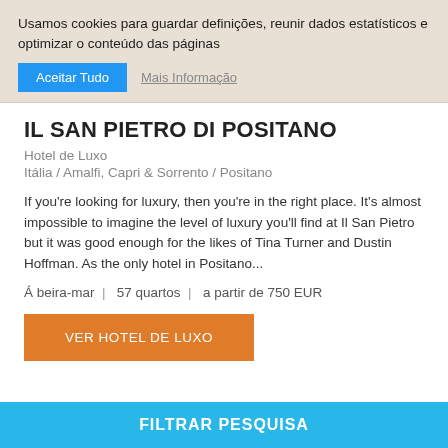Usamos cookies para guardar definições, reunir dados estatísticos e optimizar o conteúdo das páginas
Aceitar Tudo   Mais Informação
IL SAN PIETRO DI POSITANO
Hotel de Luxo
Itália / Amalfi, Capri & Sorrento / Positano
If you're looking for luxury, then you're in the right place. It's almost impossible to imagine the level of luxury you'll find at Il San Pietro but it was good enough for the likes of Tina Turner and Dustin Hoffman. As the only hotel in Positano...
Á beira-mar  |  57 quartos  |  a partir de 750 EUR
VER HOTEL DE LUXO
FILTRAR PESQUISA